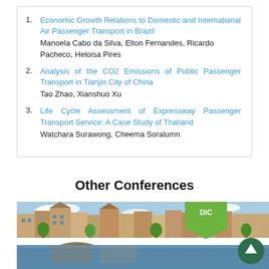Economic Growth Relations to Domestic and International Air Passenger Transport in Brazil — Manoela Cabo da Silva, Elton Fernandes, Ricardo Pacheco, Heloisa Pires
Analysis of the CO2 Emissions of Public Passenger Transport in Tianjin City of China — Tao Zhao, Xianshuo Xu
Life Cycle Assessment of Expressway Passenger Transport Service: A Case Study of Thailand — Watchara Surawong, Cheema Soralumn
Other Conferences
[Figure (photo): Canal city scene (Amsterdam-style) with historic buildings, trees and water, with a green badge overlay showing 'DIC' and a dark green scroll-up button]